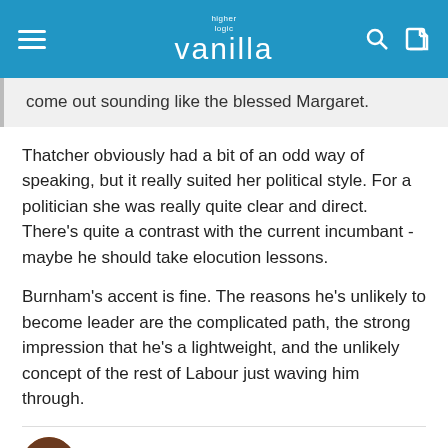higher logic vanilla
come out sounding like the blessed Margaret.
Thatcher obviously had a bit of an odd way of speaking, but it really suited her political style. For a politician she was really quite clear and direct. There's quite a contrast with the current incumbant - maybe he should take elocution lessons.
Burnham's accent is fine. The reasons he's unlikely to become leader are the complicated path, the strong impression that he's a lightweight, and the unlikely concept of the rest of Labour just waving him through.
StuartDickson  Posts: 9,942  January 9  edited January 9